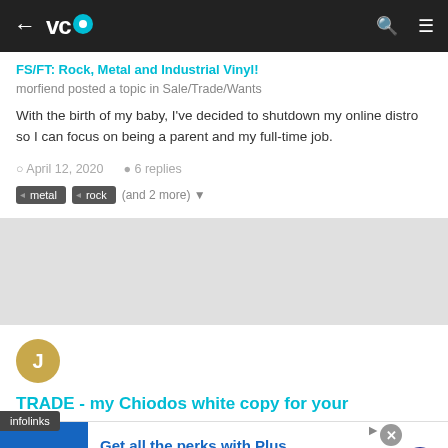VC (navigation bar with back arrow, logo, search, menu)
FS/FT: Rock, Metal and Industrial Vinyl!
morfiend posted a topic in Sale/Trade/Wants
With the birth of my baby, I've decided to shutdown my online distro so I can focus on being a parent and my full-time job.
April 12, 2020   6 replies
metal
rock
(and 2 more)
[Figure (other): User avatar circle with letter J, gold/tan color]
TRADE - my Chiodos white copy for your
infolinks
[Figure (other): Sam's Club advertisement banner - Get all the perks with Plus. 2% Sam's Cash. On qualifying purchases, up to $500/year. www.samsclub.com]